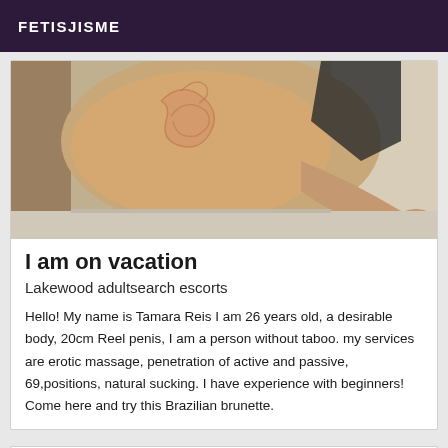FETISJISME
[Figure (photo): Photo of a person showing a tattooed hip/back area, wearing a black bikini, leaning against a wall/door frame]
I am on vacation
Lakewood adultsearch escorts
Hello! My name is Tamara Reis I am 26 years old, a desirable body, 20cm Reel penis, I am a person without taboo. my services are erotic massage, penetration of active and passive, 69,positions, natural sucking. I have experience with beginners! Come here and try this Brazilian brunette.